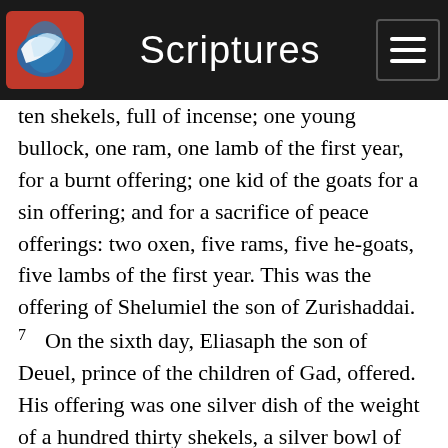Scriptures
ten shekels, full of incense; one young bullock, one ram, one lamb of the first year, for a burnt offering; one kid of the goats for a sin offering; and for a sacrifice of peace offerings: two oxen, five rams, five he-goats, five lambs of the first year. This was the offering of Shelumiel the son of Zurishaddai.
7  On the sixth day, Eliasaph the son of Deuel, prince of the children of Gad, offered. His offering was one silver dish of the weight of a hundred thirty shekels, a silver bowl of seventy shekels, after the shekel of the sanctuary (both of them full of fine flour mingled with oil for a grain offering); one golden spoon of ten shekels, full of incense; one young bullock, one ram, one lamb of the first year, for a burnt offering; one kid of the goats for a sin offering; and for a sacrifice of peace offerings;